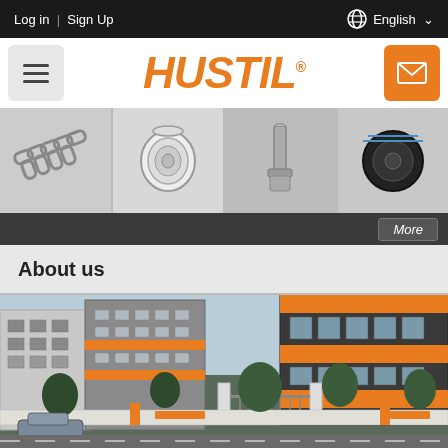Log in | Sign Up   English
[Figure (logo): HUSTIL brand logo in orange italic bold text with registered trademark symbol]
[Figure (photo): Four product images in a strip: chain, air filter, metal rod/bolt, and cable reel on grey background]
About us
[Figure (photo): 3D render of HUSTIL factory/company building complex with orange and dark grey architecture, gates, trees, and a car parked outside]